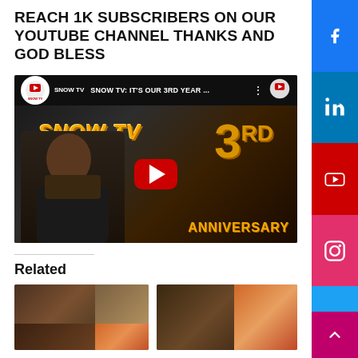REACH 1K SUBSCRIBERS ON OUR YOUTUBE CHANNEL THANKS AND GOD BLESS
[Figure (screenshot): YouTube video thumbnail showing Snow TV 3rd Anniversary video with a man with a beard in a black t-shirt and vest, with gold '3RD' anniversary text and 'SNOW TV' branding on the thumbnail. The video is titled 'SNOW TV: IT'S OUR 3RD YEAR...' with a red YouTube play button overlay.]
Related
[Figure (photo): Two related article thumbnail images side by side showing people.]